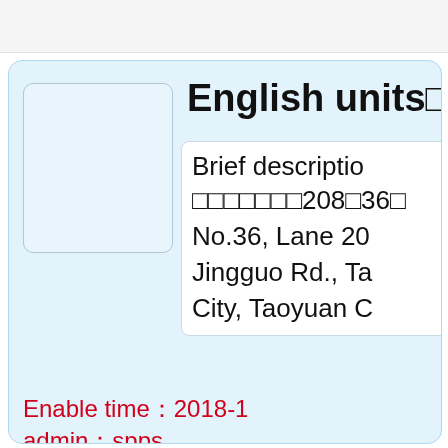English units
Brief description
□□□□□□□208□36□
No.36, Lane 20
Jingguo Rd., Ta
City, Taoyuan C
Enable time：2018-1
admin：spps